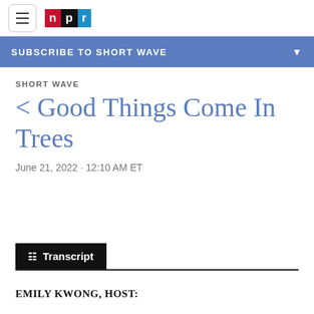NPR navigation bar with hamburger menu and NPR logo
SUBSCRIBE TO SHORT WAVE
SHORT WAVE
< Good Things Come In Trees
June 21, 2022 · 12:10 AM ET
Transcript
EMILY KWONG, HOST: